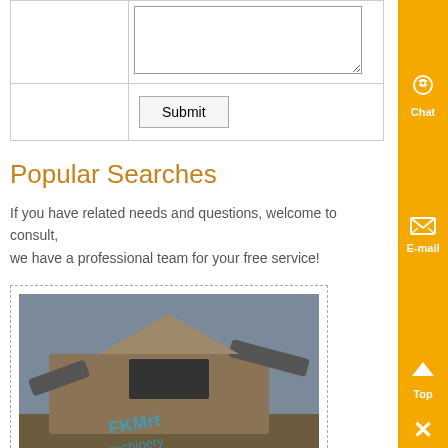|  | (textarea) |
|  | Submit |
Popular Searches
If you have related needs and questions, welcome to consult, we have a professional team for your free service!
[Figure (photo): Photo of a crusher machine / quarry equipment on a job site, with a watermark overlay]
detailed diagram wood crusher machine – Crusher Machine , - Know More